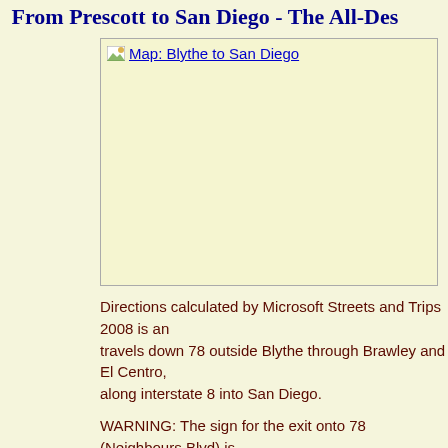From Prescott to San Diego - The All-Des...
[Figure (map): Map placeholder image labeled 'Map: Blythe to San Diego' shown as a broken image icon with link text]
Directions calculated by Microsoft Streets and Trips 2008 is an... travels down 78 outside Blythe through Brawley and El Centro, along interstate 8 into San Diego.
WARNING: The sign for the exit onto 78 (Neighbours Blvd) is... top of the freeway.